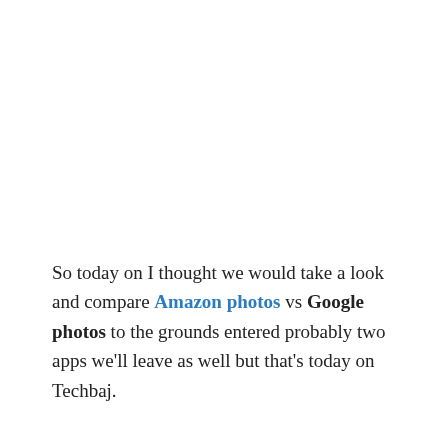So today on I thought we would take a look and compare Amazon photos vs Google photos to the grounds entered probably two apps we'll leave as well but that's today on Techbaj.